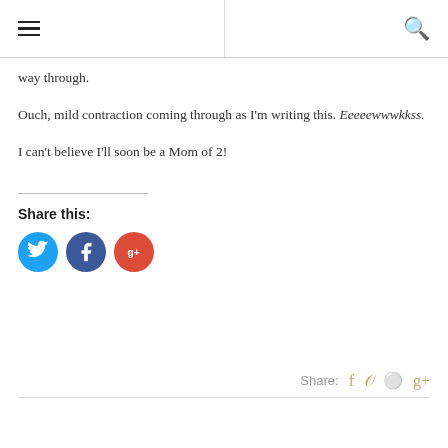way through.
Ouch, mild contraction coming through as I'm writing this. Eeeeewwwkkss.
I can't believe I'll soon be a Mom of 2!
Share this:
[Figure (other): Social sharing buttons: Twitter (blue circle), Facebook (dark blue circle), Google+ (red circle)]
Share:  f  twitter  pinterest  g+